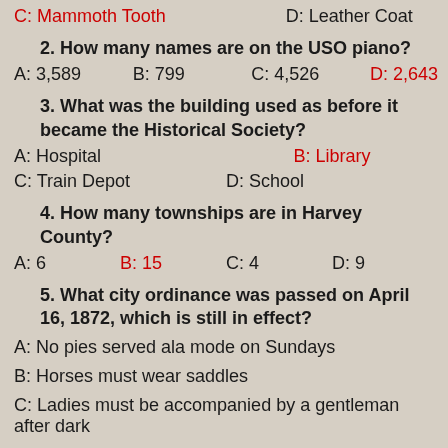C: Mammoth Tooth    D: Leather Coat
2. How many names are on the USO piano?
A: 3,589    B: 799    C: 4,526    D: 2,643
3. What was the building used as before it became the Historical Society?
A: Hospital    B: Library
C: Train Depot    D: School
4. How many townships are in Harvey County?
A: 6    B: 15    C: 4    D: 9
5. What city ordinance was passed on April 16, 1872, which is still in effect?
A: No pies served ala mode on Sundays
B: Horses must wear saddles
C: Ladies must be accompanied by a gentleman after dark
D: No buffalo steaks will be given away in any poker game